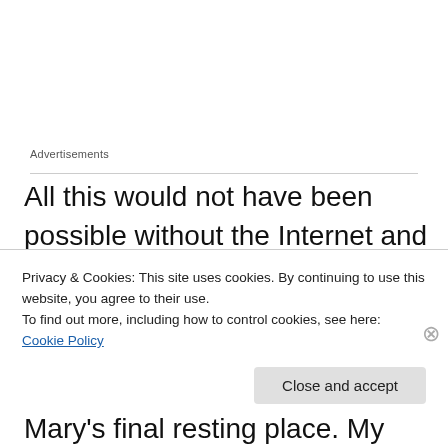Advertisements
All this would not have been possible without the Internet and efficient search engines (thank you, Google). Even more amazing, though, was what I was able to find out about poor Mary's final resting place. My great-grandfather, in his letter to his parents, wrote that the baby had been buried, in a white casket covered with white flowers, in Cincinnati's Spring Grove Cemetery. At that
Privacy & Cookies: This site uses cookies. By continuing to use this website, you agree to their use.
To find out more, including how to control cookies, see here: Cookie Policy